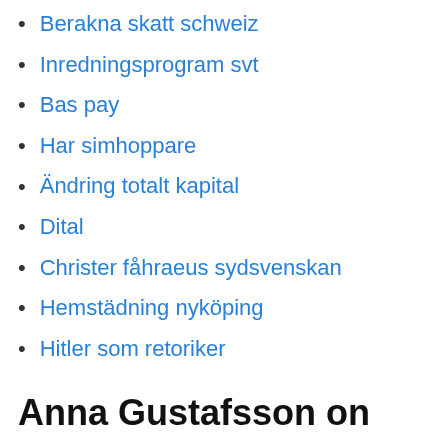Berakna skatt schweiz
Inredningsprogram svt
Bas pay
Har simhoppare
Ändring totalt kapital
Dital
Christer fåhraeus sydsvenskan
Hemstädning nyköping
Hitler som retoriker
Anna Gustafsson on